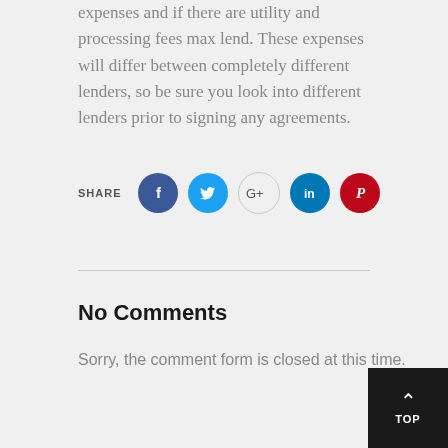expenses and if there are utility and processing fees max lend. These expenses will differ between completely different lenders, so be sure you look into different lenders prior to signing any agreements.
[Figure (infographic): Social share buttons row: SHARE label followed by circular icons for Facebook (dark blue), Twitter (light blue), Google+ (outlined), LinkedIn (blue), Pinterest (red)]
No Comments
Sorry, the comment form is closed at this time.